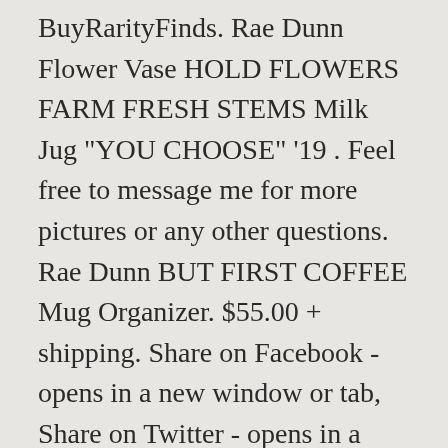BuyRarityFinds. Rae Dunn Flower Vase HOLD FLOWERS FARM FRESH STEMS Milk Jug "YOU CHOOSE" '19 . Feel free to message me for more pictures or any other questions. Rae Dunn BUT FIRST COFFEE Mug Organizer. $55.00 + shipping. Share on Facebook - opens in a new window or tab, Share on Twitter - opens in a new window or tab, Share on Pinterest - opens in a new window or tab. Shop staple classics and specialty Rae Dunn farmhouse decor, plus vintage pottery that stands out in all the right ways. Rae Dunn $39 $64 39% OFF. Rae Dunn Large/Long Letter Tea Canister Artisan Collection 4.6 out of 5 stars 29. From shop HappyMomCreation. This ivory ceramic sugar and cream set was hand crafted